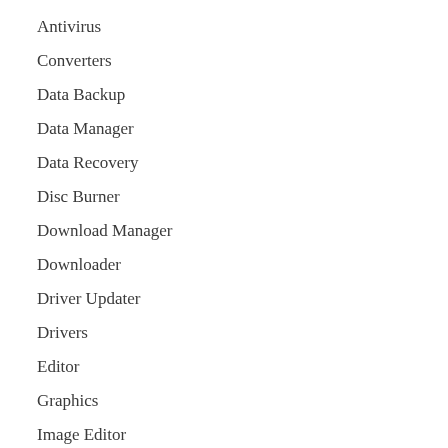Antivirus
Converters
Data Backup
Data Manager
Data Recovery
Disc Burner
Download Manager
Downloader
Driver Updater
Drivers
Editor
Graphics
Image Editor